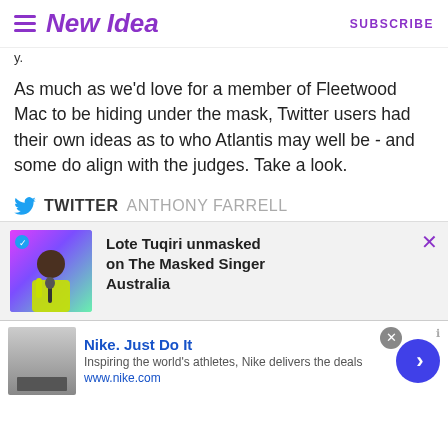New Idea — SUBSCRIBE
As much as we'd love for a member of Fleetwood Mac to be hiding under the mask, Twitter users had their own ideas as to who Atlantis may well be - and some do align with the judges. Take a look.
TWITTER  ANTHONY FARRELL
[Figure (photo): Promo card showing a person on stage with colorful background, captioned: Lote Tuqiri unmasked on The Masked Singer Australia]
[Figure (screenshot): Nike ad banner: Nike. Just Do It — Inspiring the world's athletes, Nike delivers the deals. www.nike.com]